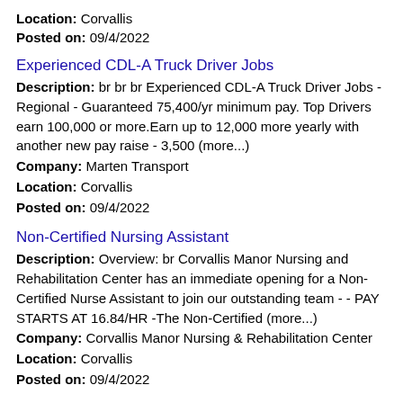Location: Corvallis
Posted on: 09/4/2022
Experienced CDL-A Truck Driver Jobs
Description: br br br Experienced CDL-A Truck Driver Jobs - Regional - Guaranteed 75,400/yr minimum pay. Top Drivers earn 100,000 or more.Earn up to 12,000 more yearly with another new pay raise - 3,500 (more...)
Company: Marten Transport
Location: Corvallis
Posted on: 09/4/2022
Non-Certified Nursing Assistant
Description: Overview: br Corvallis Manor Nursing and Rehabilitation Center has an immediate opening for a Non-Certified Nurse Assistant to join our outstanding team - - PAY STARTS AT 16.84/HR -The Non-Certified (more...)
Company: Corvallis Manor Nursing & Rehabilitation Center
Location: Corvallis
Posted on: 09/4/2022
Salary in Hillsboro, Oregon Area | More details for Hillsboro, Oregon Jobs |Salary